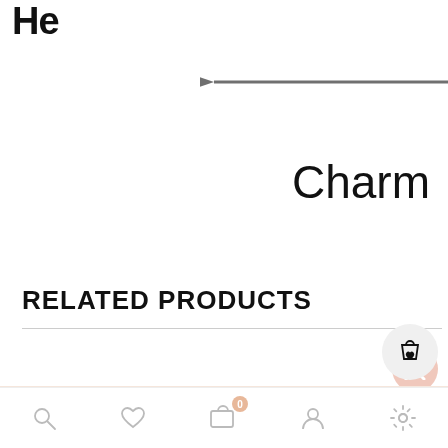He... (partial navigation header, cropped)
Charm
RELATED PRODUCTS
[Figure (screenshot): Scroll-to-top button (pink circular button with double up-arrow chevron icon)]
[Figure (screenshot): Shopping bag with heart icon in a circular grey button]
Footer navigation bar with search, wishlist, cart (0), account, and settings icons